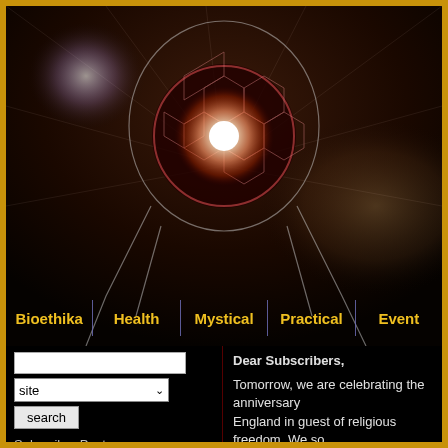[Figure (illustration): Dark cosmic/mystical hero image showing a silhouette of a human head with a glowing orb of light replacing the brain, set against a dark space background with rays of light. Gold border surrounds the entire page.]
Bioethika | Health | Mystical | Practical | Event
[Figure (screenshot): Search widget with text input, site dropdown selector, and search button]
Subscriber Posts
Animals
Dear Subscribers,
Tomorrow, we are celebrating the anniversary
England in guest of religious freedom. We so